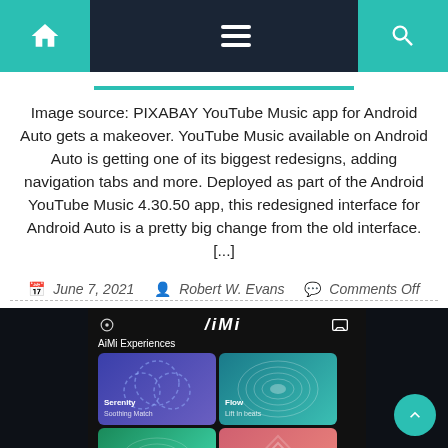Navigation bar with home icon, menu icon, and search icon
Image source: PIXABAY YouTube Music app for Android Auto gets a makeover. YouTube Music available on Android Auto is getting one of its biggest redesigns, adding navigation tabs and more. Deployed as part of the Android YouTube Music 4.30.50 app, this redesigned interface for Android Auto is a pretty big change from the old interface. [...]
June 7, 2021  Robert W. Evans  Comments Off
[Figure (screenshot): Screenshot of AiMi app interface on a dark background showing AiMi Experiences with Serenity (Soothing Match) and Flow tiles, plus two more tiles below in green and pink]